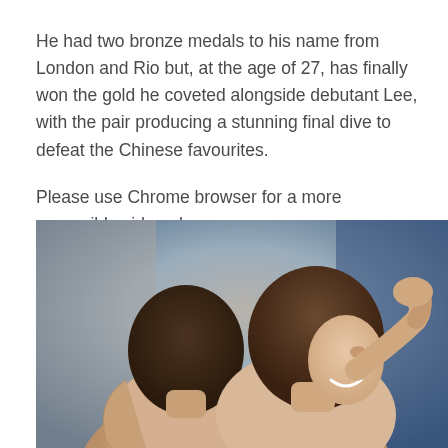He had two bronze medals to his name from London and Rio but, at the age of 27, has finally won the gold he coveted alongside debutant Lee, with the pair producing a stunning final dive to defeat the Chinese favourites.
Please use Chrome browser for a more accessible video player
[Figure (photo): Two athletes (divers) embracing each other, viewed from behind and slightly to the side. The person on the right is smiling. Both are shirtless. The background shows blurred blue and grey tones consistent with an aquatics venue.]